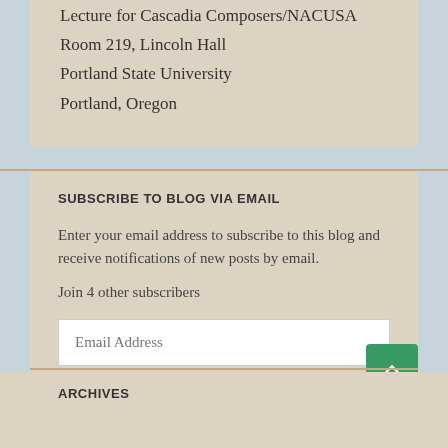Lecture for Cascadia Composers/NACUSA
Room 219, Lincoln Hall
Portland State University
Portland, Oregon
SUBSCRIBE TO BLOG VIA EMAIL
Enter your email address to subscribe to this blog and receive notifications of new posts by email.
Join 4 other subscribers
ARCHIVES